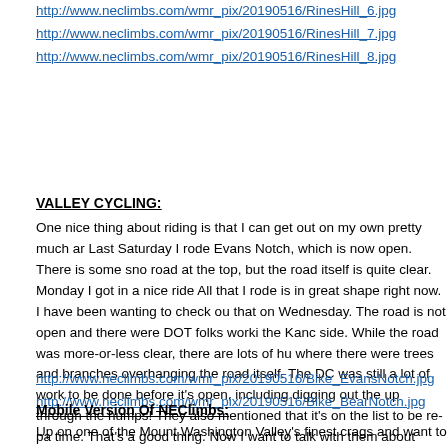http://www.neclimbs.com/wmr_pix/20190516/RinesHill_6.jpg
http://www.neclimbs.com/wmr_pix/20190516/RinesHill_7.jpg
http://www.neclimbs.com/wmr_pix/20190516/RinesHill_8.jpg
VALLEY CYCLING:
One nice thing about riding is that I can get out on my own pretty much ar Last Saturday I rode Evans Notch, which is now open. There is some sno road at the top, but the road itself is quite clear. Monday I got in a nice ride All that I rode is in great shape right now. I have been wanting to check ou that on Wednesday. The road is not open and there were DOT folks worki the Kanc side. While the road was more-or-less clear, there are lots of hu where there were trees and branches overhanging the road itself. The DC was still a lot of work to be done before it's open, including digging out the up through the humps! They also mentioned that it's on the list to be re-pa time. That's a good thing. Now I want to talk with them about Hurricane M
http://www.neclimbs.com/wmr_pix/20190516/Bike_EvansNotch.jpg
http://www.neclimbs.com/wmr_pix/20190516/Bike_BearNotch.jpg
Mobile Version Of NEClimbs:
Up on one of the Mount Washington Valley's finest crags and want to kno looking at is? Or maybe you're on your way up from Boston and want to c for your upcoming weekend plans. Or more likely, you're at work just want next adventure. Well if you have a smart phone handy, you can get to NE neclimbs.com/wmr. While it doesn't offer every single feature of the site,